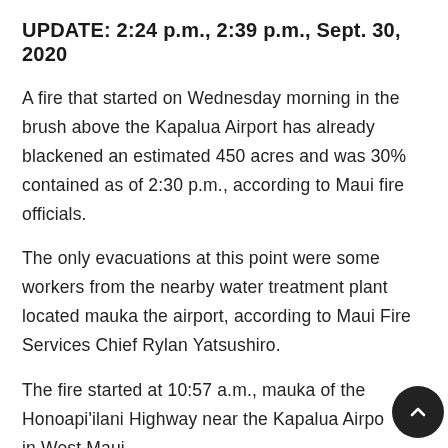UPDATE: 2:24 p.m., 2:39 p.m., Sept. 30, 2020
A fire that started on Wednesday morning in the brush above the Kapalua Airport has already blackened an estimated 450 acres and was 30% contained as of 2:30 p.m., according to Maui fire officials.
The only evacuations at this point were some workers from the nearby water treatment plant located mauka the airport, according to Maui Fire Services Chief Rylan Yatsushiro.
The fire started at 10:57 a.m., mauka of the Honoapi'ilani Highway near the Kapalua Airport in West Maui.